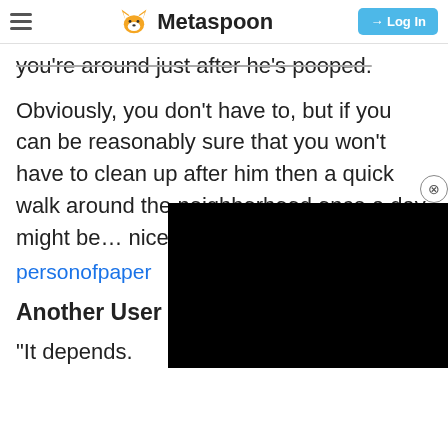Metaspoon | Log In
you're around just after he's pooped.
Obviously, you don't have to, but if you can be reasonably sure that you won't have to clean up after him then a quick walk around the neighborhood once a day might be… nice?"
personofpaper
Another User Comm
"It depends.